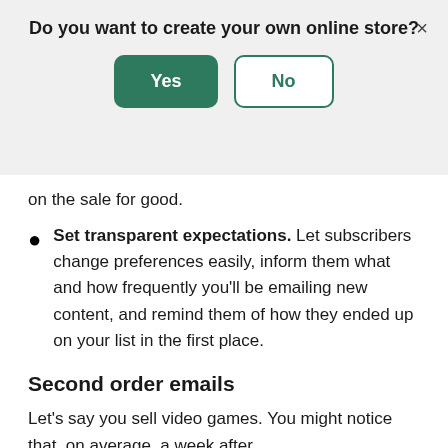Do you want to create your own online store?
on the sale for good.
Set transparent expectations. Let subscribers change preferences easily, inform them what and how frequently you'll be emailing new content, and remind them of how they ended up on your list in the first place.
Second order emails
Let's say you sell video games. You might notice that, on average, a week after